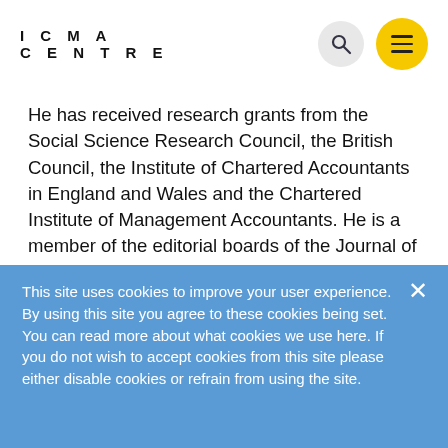ICMA CENTRE
He has received research grants from the Social Science Research Council, the British Council, the Institute of Chartered Accountants in England and Wales and the Chartered Institute of Management Accountants. He is a member of the editorial boards of the Journal of Futures Markets, the Journal of Business Finance and Accounting, the Journal of Financial Management and Analysis and the European Journal of Finance; and is vice-chairman of the Research Board of
This site uses cookies to improve your user experience. By using this site you agree to these cookies being set. You can read more about what cookies we use here. If you do not wish to accept cookies from this site please either disable cookies or refrain from using the site.